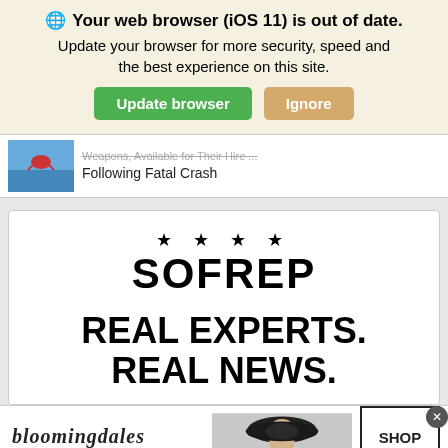🌐 Your web browser (iOS 11) is out of date. Update your browser for more security, speed and the best experience on this site. [Update browser] [Ignore]
[Figure (screenshot): Browser update notification banner with 'Update browser' green button and 'Ignore' tan button]
Following Fatal Crash
[Figure (screenshot): SOFREP advertisement with four stars, bold SOFREP logo, and tagline REAL EXPERTS. REAL NEWS.]
[Figure (screenshot): Bloomingdale's advertisement banner: 'bloomingdales — View Today's Top Deals!' with woman in hat photo and SHOP NOW > button]